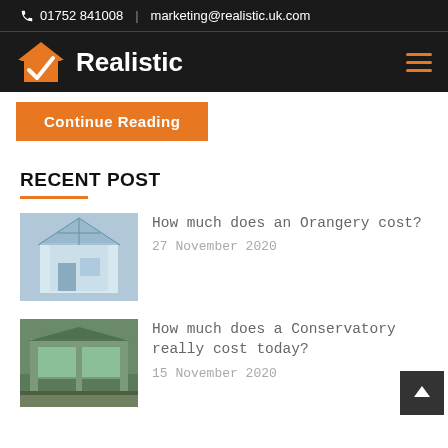01752 841008 | marketing@realistic.uk.com
[Figure (logo): Realistic company logo with orange house icon and checkmark, white text on dark background, with hamburger menu icon]
Continue Reading
RECENT POST
How much does an Orangery cost? — 27 November 2020
How much does a Conservatory really cost today? — 15 November 2020